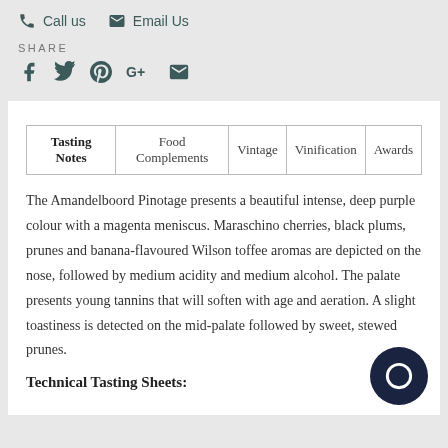Call us   Email Us
SHARE
[Figure (other): Social share icons: Facebook, Twitter, Pinterest, Google+, Email]
| Tasting Notes | Food Complements | Vintage | Vinification | Awards |
| --- | --- | --- | --- | --- |
The Amandelboord Pinotage presents a beautiful intense, deep purple colour with a magenta meniscus. Maraschino cherries, black plums, prunes and banana-flavoured Wilson toffee aromas are depicted on the nose, followed by medium acidity and medium alcohol. The palate presents young tannins that will soften with age and aeration. A slight toastiness is detected on the mid-palate followed by sweet, stewed prunes.
Technical Tasting Sheets: